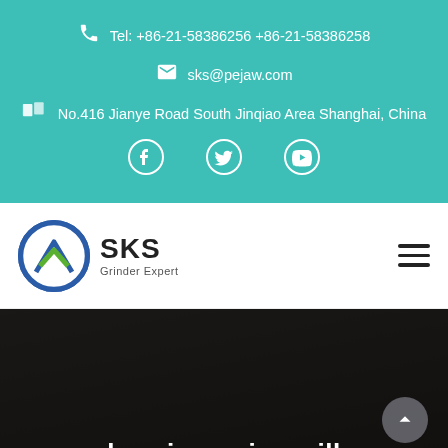Tel: +86-21-58386256 +86-21-58386258
sks@pejaw.com
No.416 Jianye Road South Jinqiao Area Shanghai, China
[Figure (logo): Social media icons: Facebook, Twitter, YouTube on teal background]
[Figure (logo): SKS Grinder Expert logo with circular icon]
burning a rice mill